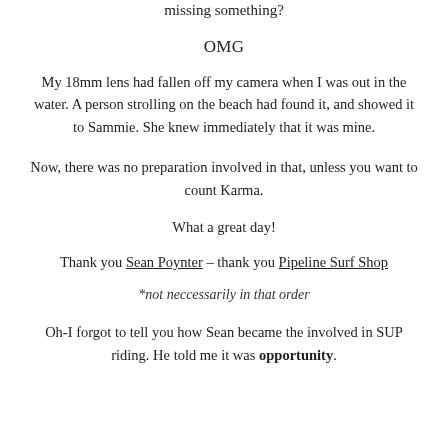missing something?
OMG
My 18mm lens had fallen off my camera when I was out in the water. A person strolling on the beach had found it, and showed it to Sammie. She knew immediately that it was mine.
Now, there was no preparation involved in that, unless you want to count Karma.
What a great day!
Thank you Sean Poynter – thank you Pipeline Surf Shop
*not neccessarily in that order
Oh-I forgot to tell you how Sean became the involved in SUP riding. He told me it was opportunity.